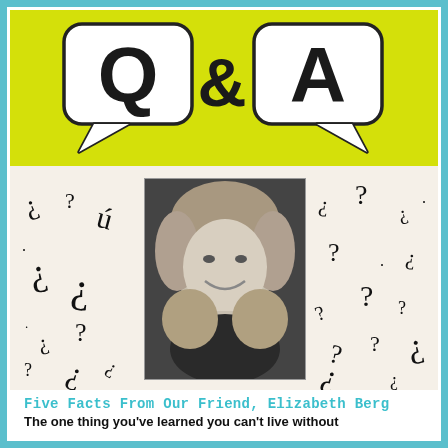[Figure (illustration): Q&A logo with two speech bubbles (Q and A) on a yellow-green background]
[Figure (photo): Black and white headshot of Elizabeth Berg, a smiling woman with shoulder-length blonde hair, surrounded by question marks on a light background]
Five Facts From Our Friend, Elizabeth Berg
The one thing you've learned you can't live without is... connection.